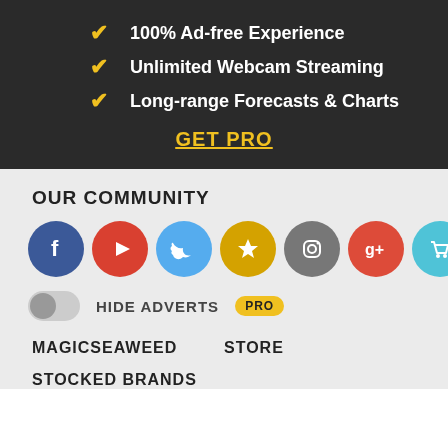100% Ad-free Experience
Unlimited Webcam Streaming
Long-range Forecasts & Charts
GET PRO
OUR COMMUNITY
[Figure (infographic): Row of social media icon circles: Facebook (blue), YouTube (red), Twitter (light blue), Star/Magicseaweed (gold), Instagram (grey), Google+ (red), Cart (light blue)]
HIDE ADVERTS PRO
MAGICSEAWEED
STORE
STOCKED BRANDS